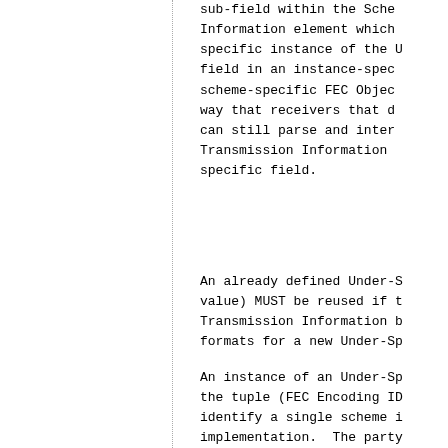sub-field within the Scheme-Specific Information element which identifies a specific instance of the Under-Specific field in an instance-specific scheme-specific FEC Object in a way that receivers that do not know it can still parse and interpret the Transmission Information element scheme-specific field.
An already defined Under-Specific (value) MUST be reused if the Transmission Information becomes formats for a new Under-Specific.
An instance of an Under-Specific is the tuple (FEC Encoding ID, ...) to identify a single scheme instance implementation. The party should provide information on how the instance identified by the...